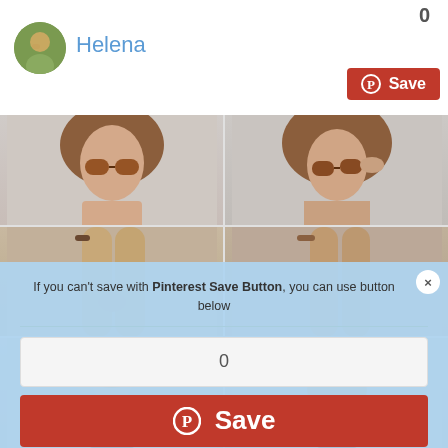[Figure (screenshot): Screenshot of a Pinterest-like social media page for user Helena, showing a profile header with avatar, a blue modal dialog saying 'If you can't save with Pinterest Save Button, you can use button below' with a count of 0 and a red Save button, overlaying a grid of fashion model photos.]
Helena
0
If you can't save with Pinterest Save Button, you can use button below
0
Save
Save